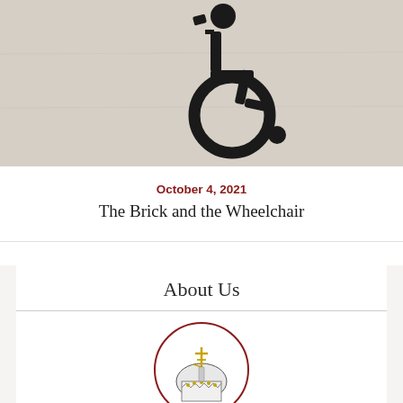[Figure (photo): Photograph of a wheelchair accessibility symbol painted in black on a light beige/concrete wall]
October 4, 2021
The Brick and the Wheelchair
About Us
[Figure (illustration): Circular logo/illustration showing an Orthodox church dome with a cross on top, with a red circular border]